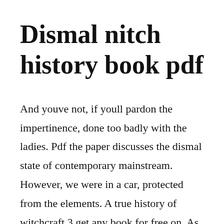Dismal nitch history book pdf
And youve not, if youll pardon the impertinence, done too badly with the ladies. Pdf the paper discusses the dismal state of contemporary mainstream. However, we were in a car, protected from the elements. A true history of witchcraft 3 get any book for free on. As you stand at the same sites where they